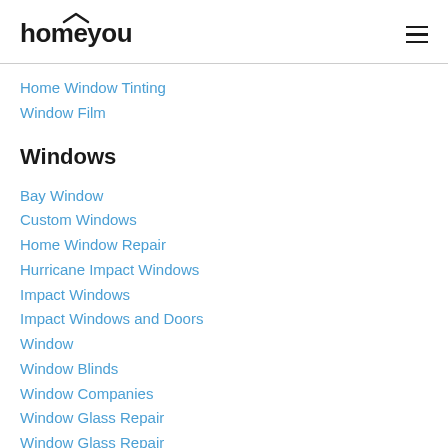homeyou
Home Window Tinting
Window Film
Windows
Bay Window
Custom Windows
Home Window Repair
Hurricane Impact Windows
Impact Windows
Impact Windows and Doors
Window
Window Blinds
Window Companies
Window Glass Repair
Window Glass Repair (continued)